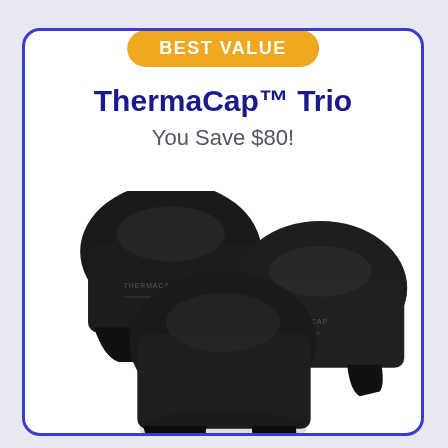BEST VALUE
ThermaCap™ Trio
You Save $80!
[Figure (photo): Three black ThermaCap therapy cap devices arranged in a group, overlapping, photographed against a white background. Each cap is a dark matte black with the THERMACAP logo visible.]